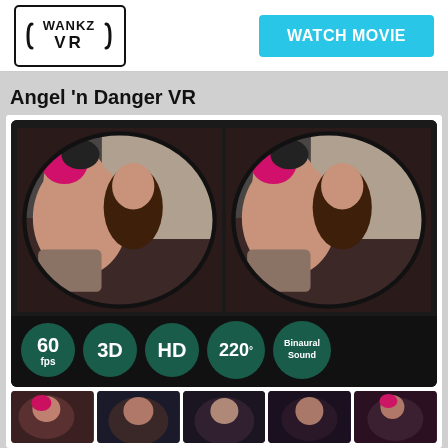[Figure (logo): WankzVR logo — bold text WANKZ over VR inside a rectangular border with bracket-style headset graphic]
WATCH MOVIE
Angel 'n Danger VR
[Figure (screenshot): VR dual-lens video thumbnail showing adult content. Bottom badges: 60 fps, 3D, HD, 220°, Binaural Sound]
[Figure (photo): Row of five smaller VR video thumbnail previews at bottom]